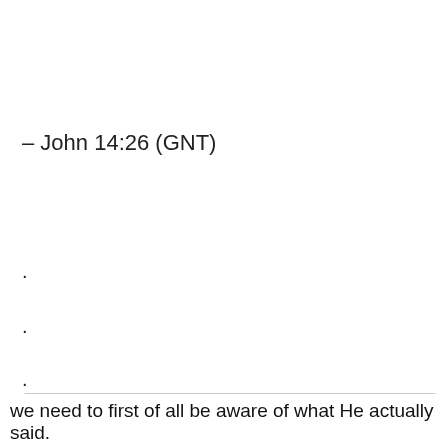– John 14:26 (GNT)
.
.
.
Privacy & Cookies: This site uses cookies. By continuing to use this website, you agree to their use.
To find out more, including how to control cookies, see here: Cookie Policy
Close and accept
we need to first of all be aware of what He actually said.